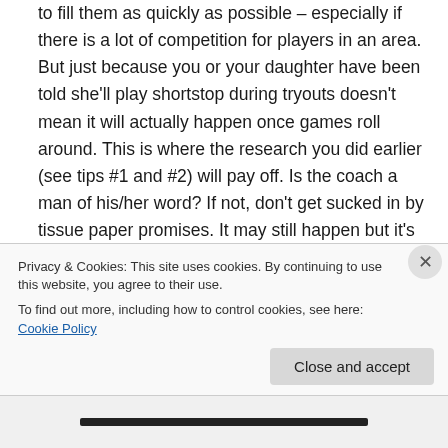to fill them as quickly as possible – especially if there is a lot of competition for players in an area. But just because you or your daughter have been told she'll play shortstop during tryouts doesn't mean it will actually happen once games roll around. This is where the research you did earlier (see tips #1 and #2) will pay off. Is the coach a man of his/her word? If not, don't get sucked in by tissue paper promises. It may still happen but it's not a given.
9. Don't rush the decision. Unless you/your daughter is trying out for her dream team, and you know there is…
Privacy & Cookies: This site uses cookies. By continuing to use this website, you agree to their use.
To find out more, including how to control cookies, see here: Cookie Policy